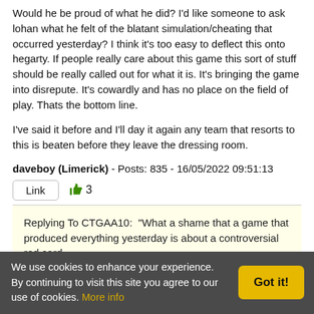Would he be proud of what he did? I'd like someone to ask lohan what he felt of the blatant simulation/cheating that occurred yesterday? I think it's too easy to deflect this onto hegarty. If people really care about this game this sort of stuff should be really called out for what it is. It's bringing the game into disrepute. It's cowardly and has no place on the field of play. Thats the bottom line.

I've said it before and I'll day it again any team that resorts to this is beaten before they leave the dressing room.
daveboy (Limerick) - Posts: 835 - 16/05/2022 09:51:13
Link  👍3
Replying To CTGAA10:  "What a shame that a game that produced everything yesterday is about a controversial red card...
We use cookies to enhance your experience. By continuing to visit this site you agree to our use of cookies. More info